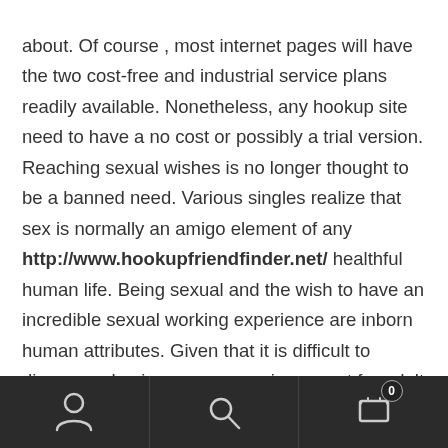about. Of course , most internet pages will have the two cost-free and industrial service plans readily available. Nonetheless, any hookup site need to have a no cost or possibly a trial version. Reaching sexual wishes is no longer thought to be a banned need. Various singles realize that sex is normally an amigo element of any http://www.hookupfriendfinder.net/ healthful human life. Being sexual and the wish to have an incredible sexual working experience are inborn human attributes. Given that it is difficult to discover a having sex companion meant for adult going out with in real life within a speedy period, many singles apply at adult dating internet sites to
[navigation bar with person icon, search icon, cart icon with badge 0]